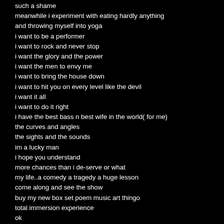such a shame
meanwhile i experiment with eating hardly anything
and throwing myself into yoga
i want to be a performer
i want to rock and never stop
i want the glory and the power
i want the men to envy me
i want to bring the house down
i want to hit you on every level like the devil
i want it all
i want to do it right
i have the best bass n best wife in the world( for me)
the curves and angles
the sights and the sounds
im a lucky man
i hope you understand
more chances than i de-serve or what
my life..a comedy a tragedy a huge lesson
come along and see the show
buy my new box set poem music art thingo
total immersion experience
ok
now for a bit more yoga